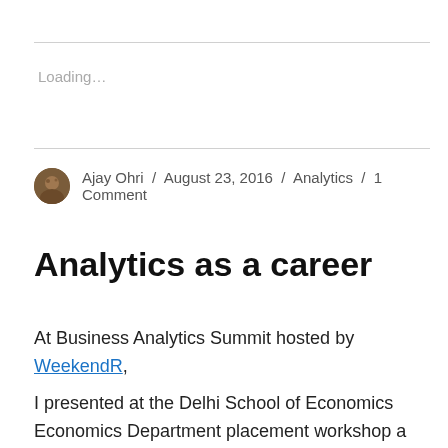Loading...
Ajay Ohri / August 23, 2016 / Analytics / 1 Comment
Analytics as a career
At Business Analytics Summit hosted by WeekendR,
I presented at the Delhi School of Economics Economics Department placement workshop a